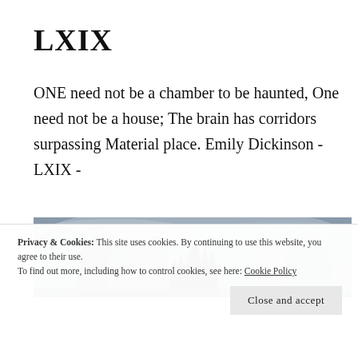LXIX
ONE need not be a chamber to be haunted, One need not be a house; The brain has corridors surpassing Material place. Emily Dickinson - LXIX -
[Figure (illustration): A dramatic landscape painting showing rocky cliffs and dark cypress trees against a stormy sky, resembling Arnold Böcklin's Isle of the Dead.]
Privacy & Cookies: This site uses cookies. By continuing to use this website, you agree to their use.
To find out more, including how to control cookies, see here: Cookie Policy
Close and accept